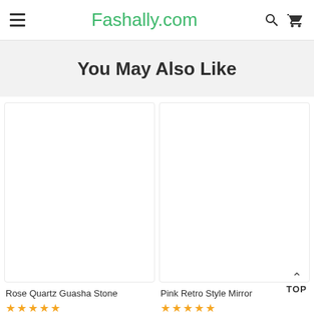Fashally.com
You May Also Like
[Figure (photo): Product image placeholder for Rose Quartz Guasha Stone]
Rose Quartz Guasha Stone
★★★★★ (stars)
[Figure (photo): Product image placeholder for Pink Retro Style Mirror]
Pink Retro Style Mirror
★★★★★ (stars)